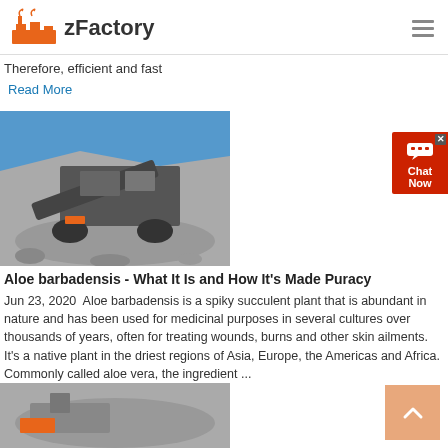zFactory
Therefore, efficient and fast
Read More
[Figure (photo): Industrial crushing/screening machine at a quarry with rock and blue sky background]
Aloe barbadensis - What It Is and How It's Made Puracy
Jun 23, 2020  Aloe barbadensis is a spiky succulent plant that is abundant in nature and has been used for medicinal purposes in several cultures over thousands of years, often for treating wounds, burns and other skin ailments. It's a native plant in the driest regions of Asia, Europe, the Americas and Africa. Commonly called aloe vera, the ingredient ...
Read More
[Figure (photo): Partial view of industrial machinery or mining equipment at bottom of page]